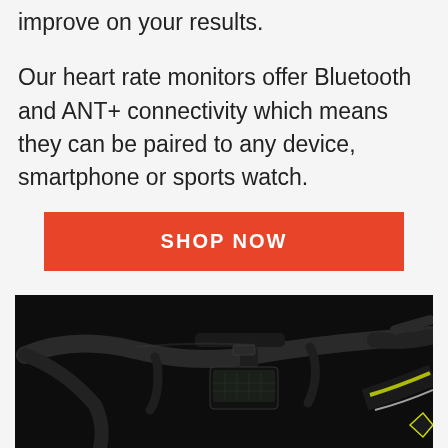improve on your results.
Our heart rate monitors offer Bluetooth and ANT+ connectivity which means they can be paired to any device, smartphone or sports watch.
SHOP NOW
[Figure (photo): Close-up photo of a road bicycle handlebar with a cycling computer/GPS device mounted on it, against a dark/black background. The bike has yellow-green accents visible on the frame.]